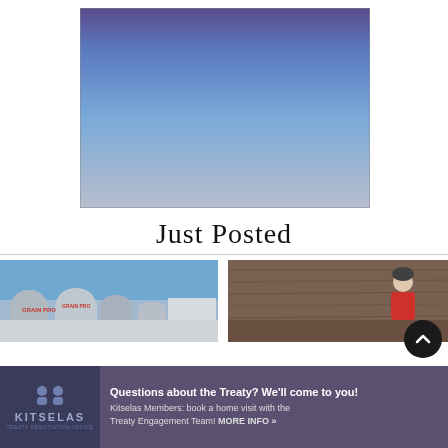[Figure (photo): A sky photo with purple-blue gradient at the top transitioning to light grey-blue at the bottom, framed with a thin border.]
Just Posted
[Figure (photo): Left thumbnail: industrial metal silos/tanks with a building in background under blue sky.]
[Figure (photo): Right thumbnail: person in red shirt and helmet standing near a wooden wall.]
[Figure (other): Kitselas Treaty advertisement banner: logo with people icons and KITSELAS text, headline 'Questions about the Treaty? We'll come to you!' with subtext about booking home visits.]